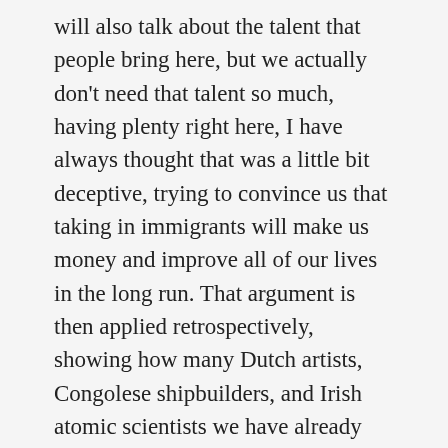will also talk about the talent that people bring here, but we actually don't need that talent so much, having plenty right here, I have always thought that was a little bit deceptive, trying to convince us that taking in immigrants will make us money and improve all of our lives in the long run. That argument is then applied retrospectively, showing how many Dutch artists, Congolese shipbuilders, and Irish atomic scientists we have already had in America, suitable for sidebars in US History textbooks. Ipso facto, the current crop standing at the door is going to provide exactly the same thing! I'm not sure all groups entering have been a plus. But, because we have British institutions, lots of resources, and the protection of two oceans and always had something to do here with